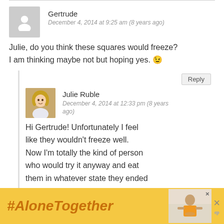Gertrude
December 4, 2014 at 9:25 am (8 years ago)
Julie, do you think these squares would freeze? I am thinking maybe not but hoping yes. 😉
Julie Ruble
December 4, 2014 at 12:33 pm (8 years ago)
Hi Gertrude! Unfortunately I feel like they wouldn't freeze well. Now I'm totally the kind of person who would try it anyway and eat them in whatever state they ended up in, but I'm almost certain they
[Figure (infographic): #AloneTogether ad banner with woman eating image and close buttons]